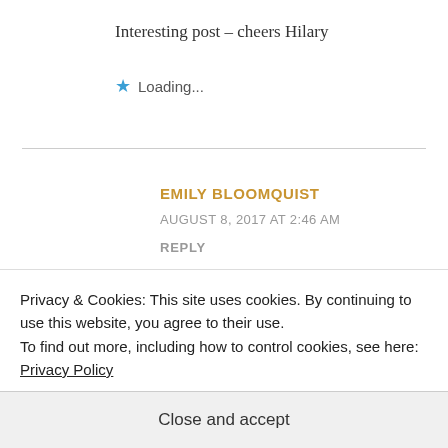Interesting post – cheers Hilary
★ Loading...
EMILY BLOOMQUIST
AUGUST 8, 2017 AT 2:46 AM
REPLY
I always appreciate your thoughtful comments, Hilary. When I researched
Privacy & Cookies: This site uses cookies. By continuing to use this website, you agree to their use.
To find out more, including how to control cookies, see here: Privacy Policy
Close and accept
years